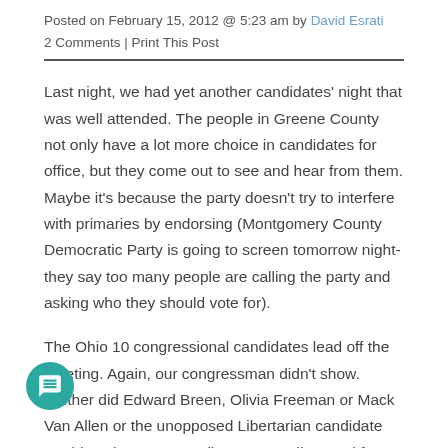Posted on February 15, 2012 @ 5:23 am by David Esrati
2 Comments | Print This Post
Last night, we had yet another candidates' night that was well attended. The people in Greene County not only have a lot more choice in candidates for office, but they come out to see and hear from them. Maybe it's because the party doesn't try to interfere with primaries by endorsing (Montgomery County Democratic Party is going to screen tomorrow night- they say too many people are calling the party and asking who they should vote for).
The Ohio 10 congressional candidates lead off the meeting. Again, our congressman didn't show. Neither did Edward Breen, Olivia Freeman or Mack Van Allen or the unopposed Libertarian candidate David Harlow. To me, Mike Turner's disregard for every single one of these events (even when he was most definitely in town) is further proof that he doesn't really care about meeting his constituents. He doesn't even send a proxy. However, I did run into a friend who said she woke up to